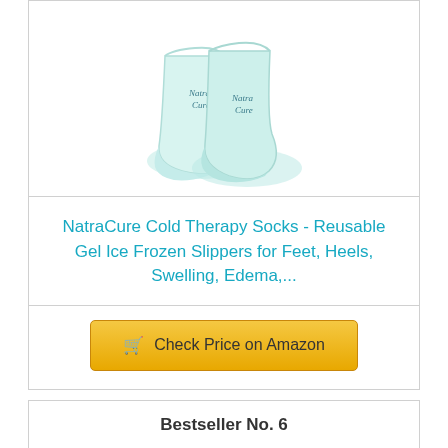[Figure (photo): NatraCure cold therapy socks in light blue/teal color, shown as a pair viewed from the side]
NatraCure Cold Therapy Socks - Reusable Gel Ice Frozen Slippers for Feet, Heels, Swelling, Edema,...
[Figure (other): Shopping cart icon and 'Check Price on Amazon' button in gold/yellow color]
Bestseller No. 6
[Figure (photo): White crew sock on a foot/leg, shown from ankle down with black shoe visible at the bottom]